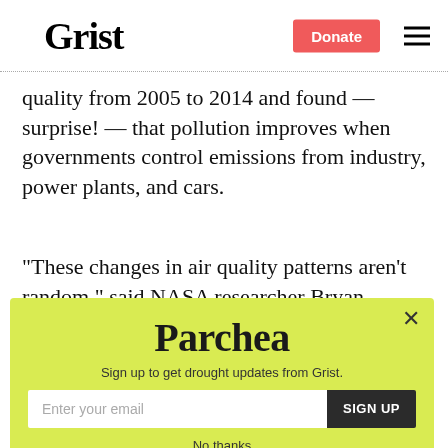Grist
quality from 2005 to 2014 and found — surprise! — that pollution improves when governments control emissions from industry, power plants, and cars.
“These changes in air quality patterns aren’t random,” said NASA researcher Bryan
[Figure (other): Parchea newsletter signup modal on yellow-green background with email input and SIGN UP button, with No thanks link below]